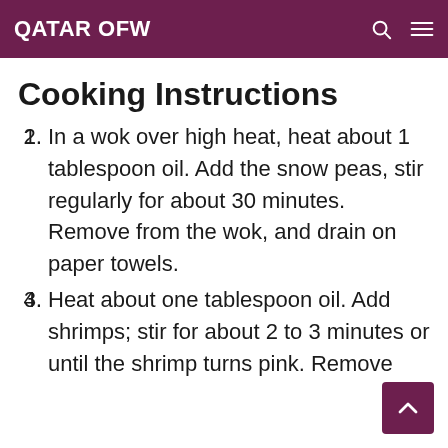QATAR OFW
Cooking Instructions
In a wok over high heat, heat about 1 tablespoon oil. Add the snow peas, stir regularly for about 30 minutes. Remove from the wok, and drain on paper towels.
Heat about one tablespoon oil. Add shrimps; stir for about 2 to 3 minutes or until the shrimp turns pink. Remove